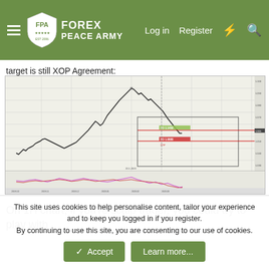FOREX PEACE ARMY — Log in | Register
target is still XOP Agreement:
[Figure (continuous-plot): Forex price chart showing a price peak followed by a decline, with two horizontal red target lines labeled XOP Agreement, and an oscillator indicator below the main chart.]
On 1H chart, if you're scalp trader, you could try to play with
This site uses cookies to help personalise content, tailor your experience and to keep you logged in if you register.
By continuing to use this site, you are consenting to our use of cookies.